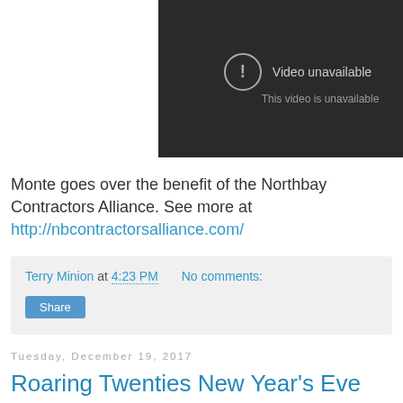[Figure (screenshot): Embedded video player showing 'Video unavailable – This video is unavailable' message on a dark background with a YouTube play button icon in the lower right corner.]
Monte goes over the benefit of the Northbay Contractors Alliance. See more at http://nbcontractorsalliance.com/
Terry Minion at 4:23 PM   No comments:
Share
Tuesday, December 19, 2017
Roaring Twenties New Year's Eve Party at Mankas Steakhouse